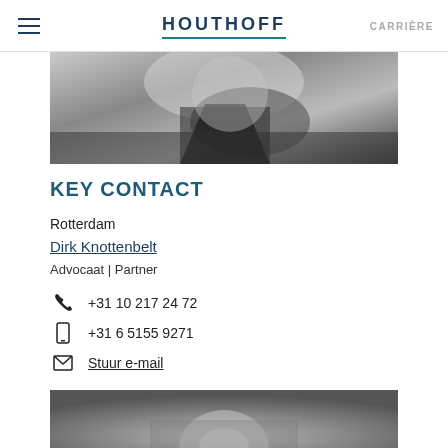HOUTHOFF | CARRIÈRE
[Figure (photo): Black and white close-up photo of a man in a suit, cropped at top]
KEY CONTACT
Rotterdam
Dirk Knottenbelt
Advocaat | Partner
+31 10 217 24 72
+31 6 5155 9271
Stuur e-mail
[Figure (photo): Black and white portrait photo of a man, partially visible at bottom of page]